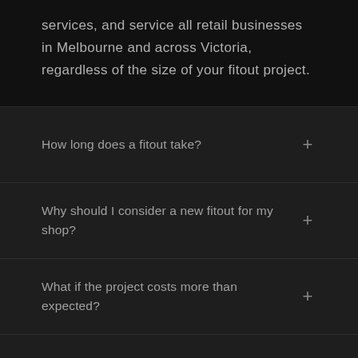services, and service all retail businesses in Melbourne and across Victoria, regardless of the size of your fitout project.
How long does a fitout take?
Why should I consider a new fitout for my shop?
What if the project costs more than expected?
Can you supply new equipment? (e.g. refrigerators, display boxes, grills, etc.)